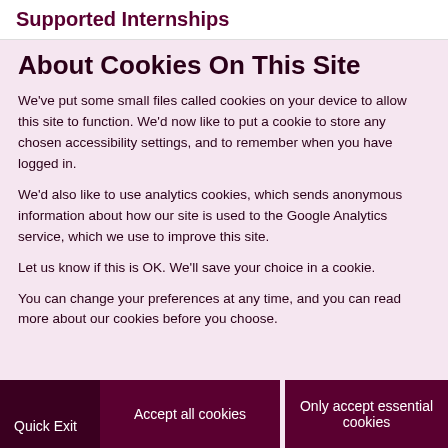Supported Internships
About Cookies On This Site
We've put some small files called cookies on your device to allow this site to function. We'd now like to put a cookie to store any chosen accessibility settings, and to remember when you have logged in.
We'd also like to use analytics cookies, which sends anonymous information about how our site is used to the Google Analytics service, which we use to improve this site.
Let us know if this is OK. We'll save your choice in a cookie.
You can change your preferences at any time, and you can read more about our cookies before you choose.
Quick Exit
Accept all cookies
Only accept essential cookies